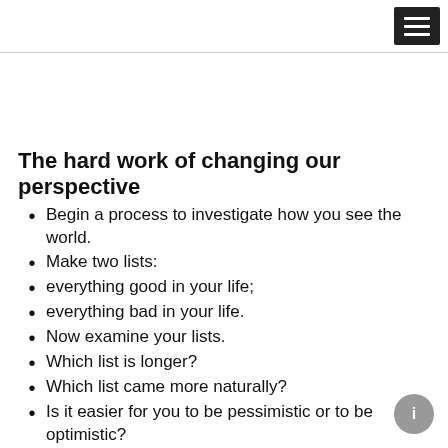The hard work of changing our perspective
Begin a process to investigate how you see the world.
Make two lists:
everything good in your life;
everything bad in your life.
Now examine your lists.
Which list is longer?
Which list came more naturally?
Is it easier for you to be pessimistic or to be optimistic?